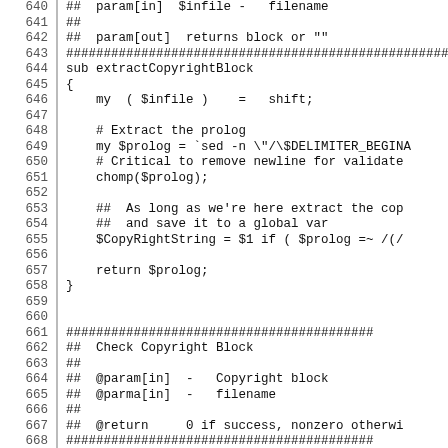640  ##  param[in]  $infile -  filename
641  ##
642  ##  param[out]  returns block or ""
643  ###########################################################
644  sub extractCopyrightBlock
645  {
646       my ( $infile )   =   shift;
647  
648       # Extract the prolog
649       my $prolog = `sed -n "/\$DELIMITER_BEGINA
650       # Critical to remove newline for validate
651       chomp($prolog);
652  
653       ##  As long as we're here extract the cop
654       ##  and save it to a global var
655       $CopyRightString = $1 if ( $prolog =~ /(/
656  
657       return $prolog;
658  }
659  
660  
661  #########################################
662  ##  Check Copyright Block
663  ##
664  ##  @param[in]  -  Copyright block
665  ##  @parma[in]  -  filename
666  ##
667  ##  @return     0 if success, nonzero otherwi
668  #########################################
669  use File::Temp;